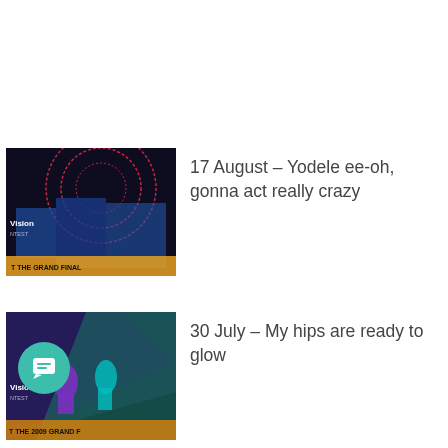17 August – Yodele ee-oh, gonna act really crazy
30 July – My hips are ready to glow
21 July – Filling the room with pain
1 June – You'll remain always in my heart